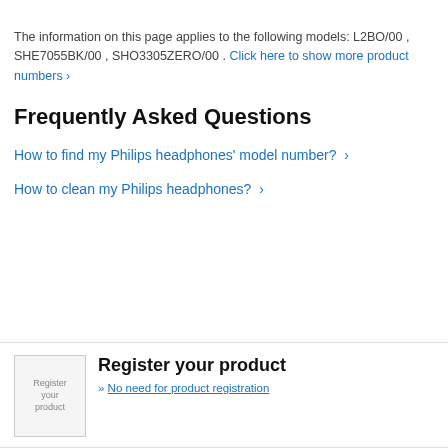The information on this page applies to the following models: L2BO/00 , SHE7055BK/00 , SHO3305ZERO/00 . Click here to show more product numbers ›
Frequently Asked Questions
How to find my Philips headphones' model number? ›
How to clean my Philips headphones? ›
[Figure (other): Register your product icon/image placeholder]
Register your product